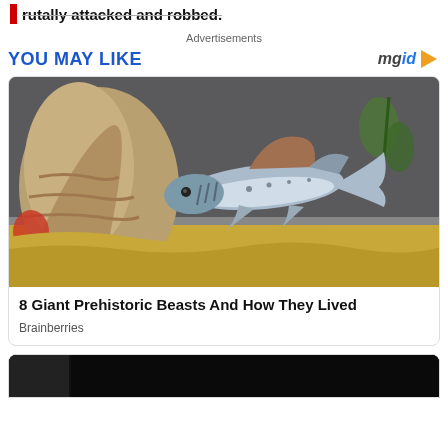rutally attacked and robbed.
Advertisements
YOU MAY LIKE
[Figure (logo): mgid logo with play icon]
[Figure (photo): A model/figurine of a prehistoric shark-like fish floating above a diorama with sandy seafloor and rocky structures with greenery in the background]
8 Giant Prehistoric Beasts And How They Lived
Brainberries
[Figure (photo): Partial view of a dark image, bottom of page cutoff]